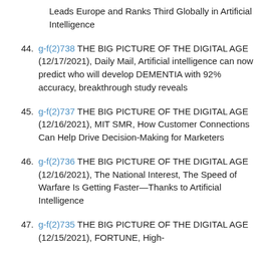Leads Europe and Ranks Third Globally in Artificial Intelligence
44. g-f(2)738 THE BIG PICTURE OF THE DIGITAL AGE (12/17/2021), Daily Mail, Artificial intelligence can now predict who will develop DEMENTIA with 92% accuracy, breakthrough study reveals
45. g-f(2)737 THE BIG PICTURE OF THE DIGITAL AGE (12/16/2021), MIT SMR, How Customer Connections Can Help Drive Decision-Making for Marketers
46. g-f(2)736 THE BIG PICTURE OF THE DIGITAL AGE (12/16/2021), The National Interest, The Speed of Warfare Is Getting Faster—Thanks to Artificial Intelligence
47. g-f(2)735 THE BIG PICTURE OF THE DIGITAL AGE (12/15/2021), FORTUNE, High-